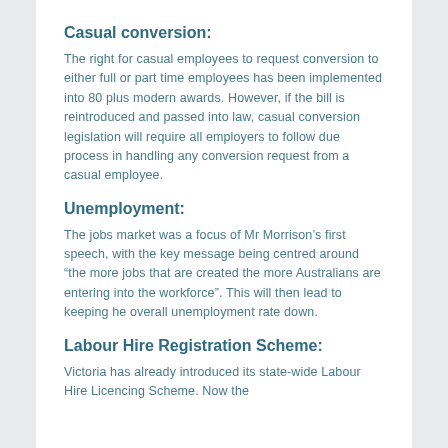Casual conversion:
The right for casual employees to request conversion to either full or part time employees has been implemented into 80 plus modern awards. However, if the bill is reintroduced and passed into law, casual conversion legislation will require all employers to follow due process in handling any conversion request from a casual employee.
Unemployment:
The jobs market was a focus of Mr Morrison’s first speech, with the key message being centred around “the more jobs that are created the more Australians are entering into the workforce”. This will then lead to keeping he overall unemployment rate down.
Labour Hire Registration Scheme:
Victoria has already introduced its state-wide Labour Hire Licencing Scheme. Now the